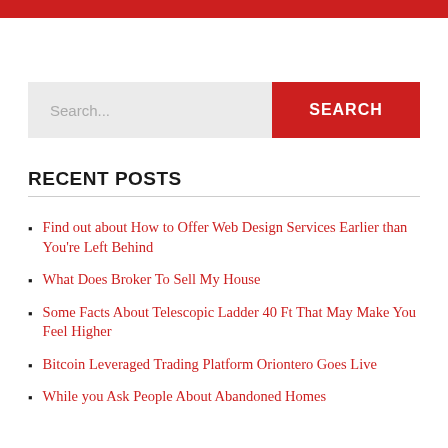Search...
RECENT POSTS
Find out about How to Offer Web Design Services Earlier than You're Left Behind
What Does Broker To Sell My House
Some Facts About Telescopic Ladder 40 Ft That May Make You Feel Higher
Bitcoin Leveraged Trading Platform Oriontero Goes Live
While you Ask People About Abandoned Homes